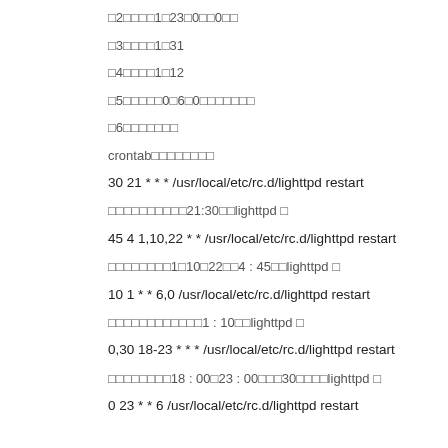□2□□□□1□23□0□□0□□
□3□□□□1□31
□4□□□□1□12
□5□□□□□0□6□0□□□□□□□
□6□□□□□□□
crontab□□□□□□□□
30 21 * * * /usr/local/etc/rc.d/lighttpd restart
□□□□□□□□□□21:30□□lighttpd □
45 4 1,10,22 * * /usr/local/etc/rc.d/lighttpd restart
□□□□□□□□1□10□22□□4 : 45□□lighttpd □
10 1 * * 6,0 /usr/local/etc/rc.d/lighttpd restart
□□□□□□□□□□□□1 : 10□□lighttpd □
0,30 18-23 * * * /usr/local/etc/rc.d/lighttpd restart
□□□□□□□□18 : 00□23 : 00□□□30□□□□lighttpd □
0 23 * * 6 /usr/local/etc/rc.d/lighttpd restart